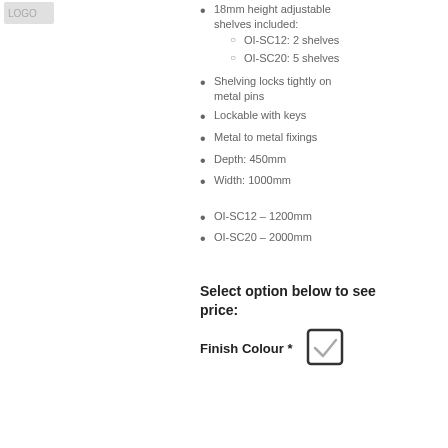[Figure (logo): Company logo, partially visible at top left]
18mm height adjustable shelves included:
  OI-SC12: 2 shelves
  OI-SC20: 5 shelves
Shelving locks tightly on metal pins
Lockable with keys
Metal to metal fixings
Depth: 450mm
Width: 1000mm
OI-SC12 – 1200mm
OI-SC20 – 2000mm
Select option below to see price:
Finish Colour *